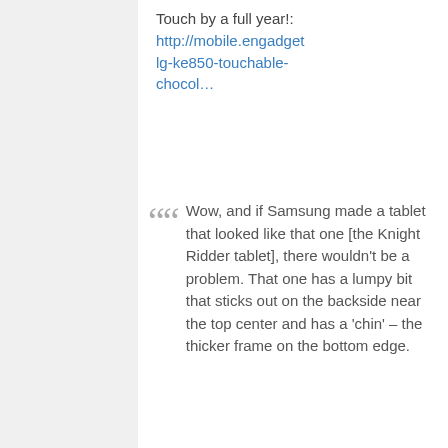Touch by a full year!: http://mobile.engadget lg-ke850-touchable-chocol…
Wow, and if Samsung made a tablet that looked like that one [the Knight Ridder tablet], there wouldn't be a problem. That one has a lumpy bit that sticks out on the backside near the top center and has a 'chin' – the thicker frame on the bottom edge.